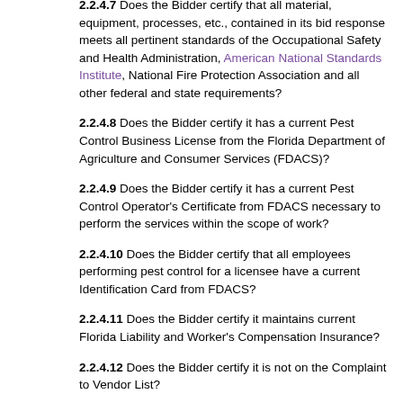2.2.4.7 Does the Bidder certify that all material, equipment, processes, etc., contained in its bid response meets all pertinent standards of the Occupational Safety and Health Administration, American National Standards Institute, National Fire Protection Association and all other federal and state requirements?
2.2.4.8 Does the Bidder certify it has a current Pest Control Business License from the Florida Department of Agriculture and Consumer Services (FDACS)?
2.2.4.9 Does the Bidder certify it has a current Pest Control Operator's Certificate from FDACS necessary to perform the services within the scope of work?
2.2.4.10 Does the Bidder certify that all employees performing pest control for a licensee have a current Identification Card from FDACS?
2.2.4.11 Does the Bidder certify it maintains current Florida Liability and Worker's Compensation Insurance?
2.2.4.12 Does the Bidder certify it is not on the Complaint to Vendor List?